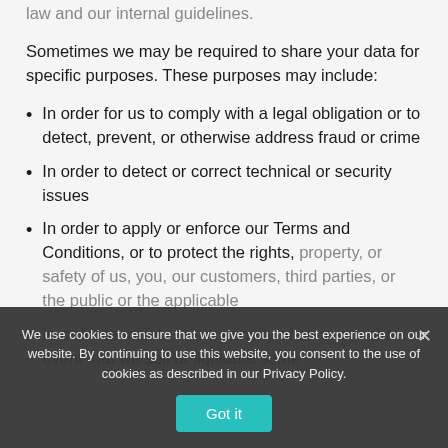law and our internal guidelines.
Sometimes we may be required to share your data for specific purposes. These purposes may include:
In order for us to comply with a legal obligation or to detect, prevent, or otherwise address fraud or crime
In order to detect or correct technical or security issues
In order to apply or enforce our Terms and Conditions, or to protect the rights, property, or safety of us, you, our customers, third parties, or the public or the applicable Terms of Service
In order to maintain continuity of service in the event that we sell or liquidate some
We use cookies to ensure that we give you the best experience on our website. By continuing to use this website, you consent to the use of cookies as described in our Privacy Policy.